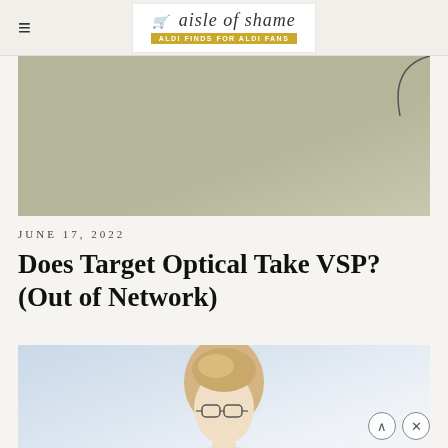aisle of shame — ALDI FINDS FOR ALDI FANS
[Figure (photo): Partial top image showing a muted sage/olive green background with a curved dark line visible in the upper right corner]
JUNE 17, 2022
Does Target Optical Take VSP? (Out of Network)
[Figure (photo): Photo of a blonde woman with hair pulled back, wearing glasses, against a soft blue and white background — partially cropped showing head and upper torso]